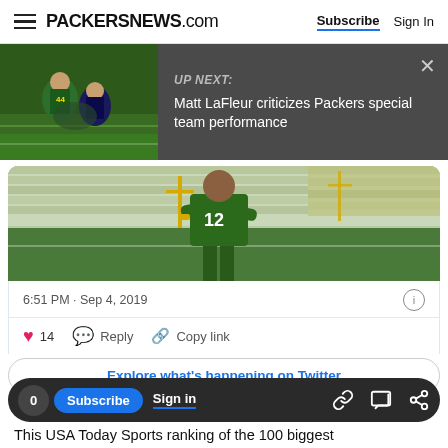PACKERSNEWS.com — Subscribe | Sign In
[Figure (screenshot): Up Next banner with dark background showing football action thumbnail on the left and text: UP NEXT: Matt LaFleur criticizes Packers special team performance, with close X button]
[Figure (photo): Green Bay Packers player in green #12 jersey standing with arms crossed in a stadium]
6:51 PM · Sep 4, 2019
[Figure (infographic): Tweet action bar with heart icon (14 likes), Reply button, Copy link button]
Explore what's happening on Twitter
0 Subscribe Sign in
This USA Today Sports ranking of the 100 biggest